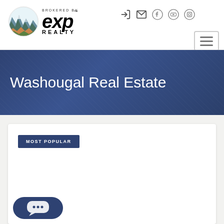[Figure (logo): eXp Realty logo with circular mountain/landscape icon and 'BROKERED BY eXp REALTY' text]
Washougal Real Estate
MOST POPULAR
[Figure (other): Chat button widget with speech bubble and three dots icon]